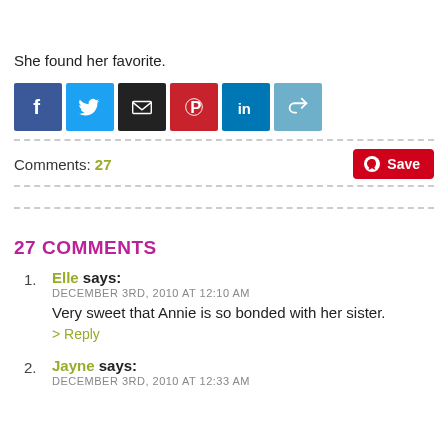She found her favorite.
[Figure (infographic): Social sharing icons: Facebook (blue), Twitter (light blue), Email (black), Pinterest (red), LinkedIn (blue), Share (teal)]
Comments: 27
27 COMMENTS
1. Elle says: DECEMBER 3RD, 2010 AT 12:10 AM
Very sweet that Annie is so bonded with her sister.
> Reply
2. Jayne says: DECEMBER 3RD, 2010 AT 12:33 AM